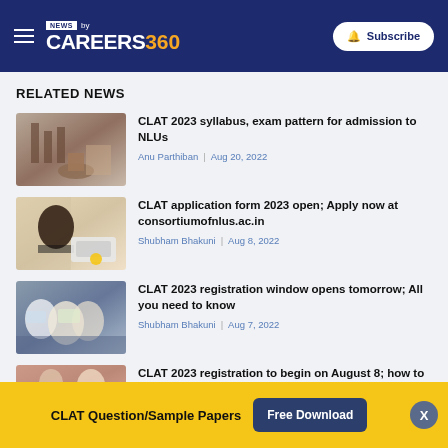NEWS by CAREERS360 — Subscribe
RELATED NEWS
[Figure (photo): Photo related to legal/court setting for CLAT 2023 syllabus article]
CLAT 2023 syllabus, exam pattern for admission to NLUs
Anu Parthiban | Aug 20, 2022
[Figure (photo): Photo of student working at laptop for CLAT application article]
CLAT application form 2023 open; Apply now at consortiumofnlus.ac.in
Shubham Bhakuni | Aug 8, 2022
[Figure (photo): Photo of students for CLAT registration window article]
CLAT 2023 registration window opens tomorrow; All you need to know
Shubham Bhakuni | Aug 7, 2022
[Figure (photo): Photo related to CLAT 2023 registration begin article]
CLAT 2023 registration to begin on August 8; how to apply
Anu Parthiban | Aug 6, 2022
CLAT Question/Sample Papers  Free Download